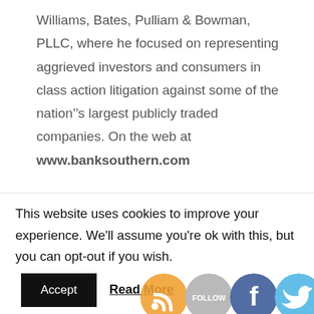Williams, Bates, Pulliam & Bowman, PLLC, where he focused on representing aggrieved investors and consumers in class action litigation against some of the nation’s largest publicly traded companies. On the web at  www.banksouthern.com
[Figure (illustration): Four circular social media icons: RSS (orange), Follow (grey), Facebook (blue), Twitter (light blue)]
Williams also served t... o...t... o...t... fice in the Arkansas House of Representatives, serving as Chair of the House Judiciary Committee and Speaker Pro Tempore of the 89th Arkansas General Assembly. He has been recognised nationally for his
This website uses cookies to improve your experience. We'll assume you're ok with this, but you can opt-out if you wish.